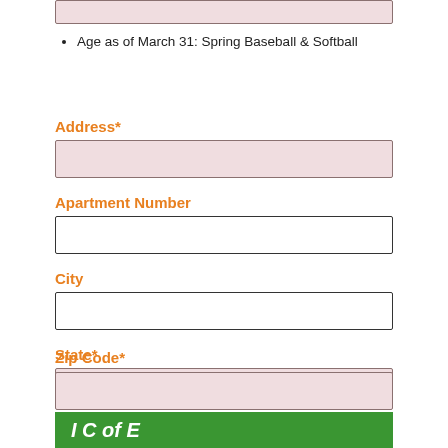[Figure (other): Pink filled form input field at top of page (partially visible)]
Age as of March 31: Spring Baseball & Softball
Address*
[Figure (other): Pink filled form input field for Address]
Apartment Number
[Figure (other): White empty form input field for Apartment Number]
City
[Figure (other): White empty form input field for City]
State*
[Figure (other): Pink form input field with placeholder text 'State']
Zip Code*
[Figure (other): Pink filled form input field for Zip Code]
[Figure (other): Green bar at bottom of page with partial italic white text]